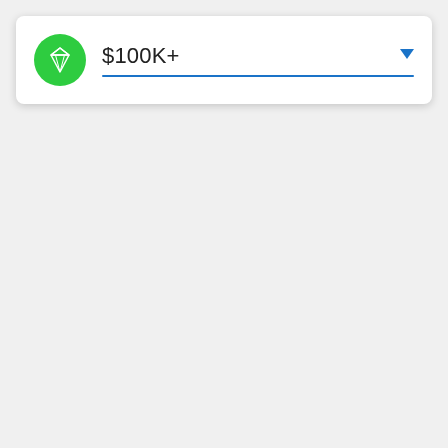[Figure (screenshot): A UI card element featuring a green circular icon with a white diamond/gem shape, a text field showing '$100K+', a blue underline, and a blue dropdown arrow on the right.]